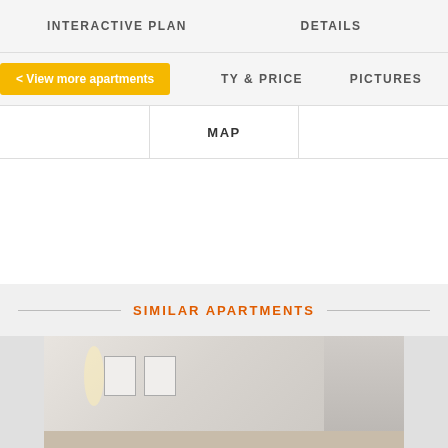INTERACTIVE PLAN    DETAILS
< View more apartments    TY & PRICE    PICTURES
MAP
SIMILAR APARTMENTS
[Figure (photo): Interior photo of an apartment room with light walls, framed pictures, and a window]